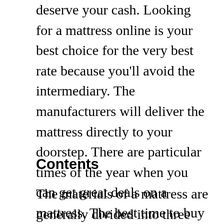deserve your cash. Looking for a mattress online is your best choice for the very best rate because you'll avoid the intermediary. The manufacturers will deliver the mattress directly to your doorstep. There are particular times of the year when you can get great deals on a mattress. The best time to buy a new bed mattress is when it is on sale.
Contents
The materials of a mattress are generally divided into three primary types. The very first type is the standard mattress, which is